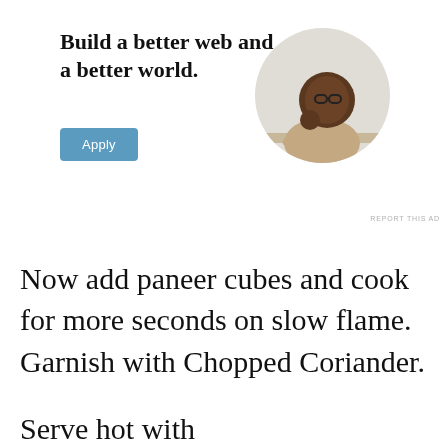[Figure (illustration): Advertisement banner with bold text 'Build a better web and a better world.', a blue 'Apply' button, and a circular photo of a man thinking/pondering with hand on chin, sitting at a desk.]
REPORT THIS AD
Now add paneer cubes and cook for more seconds on slow flame. Garnish with Chopped Coriander.
Serve hot with